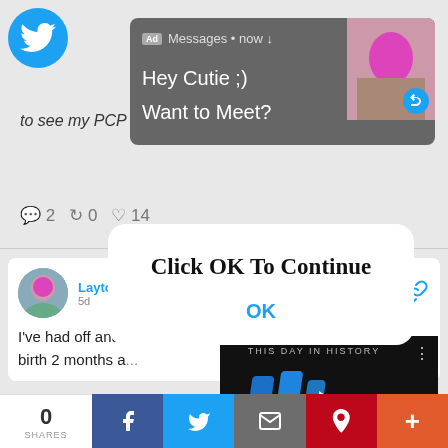[Figure (screenshot): Twitter feed background with partial tweet text visible: 'to see my PCP and it is proving difficult.' with engagement icons showing 2 comments, 0 retweets, 14 likes]
[Figure (screenshot): Ad notification popup with dark grey background showing 'Ad Messages • now' header with an image thumbnail on right, body text: 'Hey Cutie ;) Want to Meet?', blue reply icon]
Click OK To Continue
OK
[Figure (screenshot): Video player overlay showing 'THIS DAY IN HISTORY' with play button and blue arrow bars, month label 'AUGUST', video controls with mute, progress bar, and fullscreen icons]
[Figure (screenshot): Twitter profile tweet from Layton Williams-Berkes with avatar photo, text 'I've had off and ... birth 2 months a...' and a chain link icon]
[Figure (screenshot): Social share bar at bottom with 0 SHARES count, Facebook, Twitter, email, Pinterest, and plus buttons]